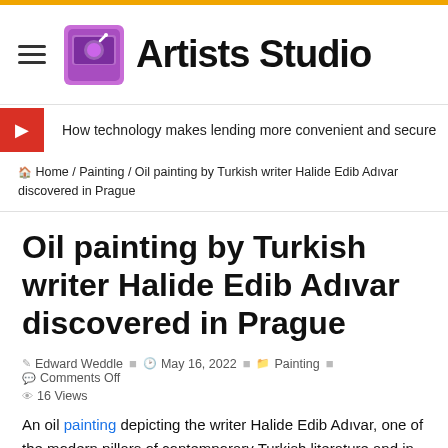Artists Studio
How technology makes lending more convenient and secure
🏠 Home / Painting / Oil painting by Turkish writer Halide Edib Adıvar discovered in Prague
Oil painting by Turkish writer Halide Edib Adıvar discovered in Prague
Edward Weddle   May 16, 2022   Painting   Comments Off   16 Views
An oil painting depicting the writer Halide Edib Adıvar, one of the modern pillars of contemporary Turkish literature and in particular the Turkish novel, made by Czech painter Alphonse Mucha in Prague in the late 1920s has been found.